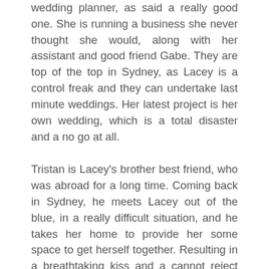wedding planner, as said a really good one. She is running a business she never thought she would, along with her assistant and good friend Gabe. They are top of the top in Sydney, as Lacey is a control freak and they can undertake last minute weddings. Her latest project is her own wedding, which is a total disaster and a no go at all.
Tristan is Lacey's brother best friend, who was abroad for a long time. Coming back in Sydney, he meets Lacey out of the blue, in a really difficult situation, and he takes her home to provide her some space to get herself together. Resulting in a breathtaking kiss and a cannot reject business proposition.
The author has created some real life characters. She is the girl next door, close to earth, yet working hard in achieving her goals. Adapting to what seems more appropriate in her environment, without giving away